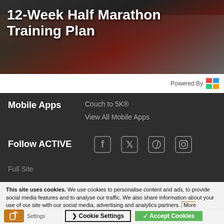[Figure (photo): Hero banner with running/marathon imagery showing a person in red, overlaid with white bold text '12-Week Half Marathon Training Plan']
12-Week Half Marathon Training Plan
Powered By [logo]
Mobile Apps
Couch to 5K®
View All Mobile Apps
Follow ACTIVE
Full Site
This site uses cookies. We use cookies to personalise content and ads, to provide social media features and to analyse our traffic. We also share information about your use of our site with our social media, advertising and analytics partners. More Information
Cookie Settings   ✓ Accept Cookies